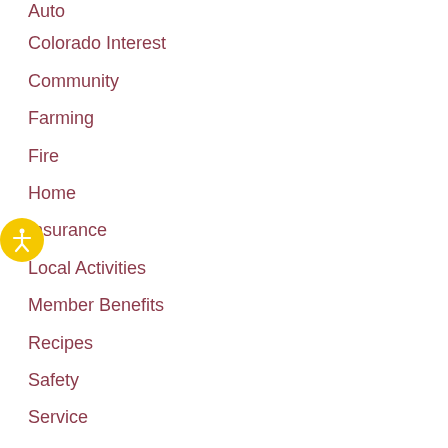Auto
Colorado Interest
Community
Farming
Fire
Home
Insurance
Local Activities
Member Benefits
Recipes
Safety
Service